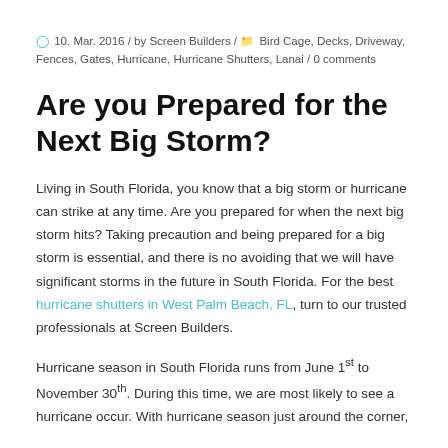10. Mar. 2016 / by Screen Builders / Bird Cage, Decks, Driveway, Fences, Gates, Hurricane, Hurricane Shutters, Lanai / 0 comments
Are you Prepared for the Next Big Storm?
Living in South Florida, you know that a big storm or hurricane can strike at any time. Are you prepared for when the next big storm hits? Taking precaution and being prepared for a big storm is essential, and there is no avoiding that we will have significant storms in the future in South Florida. For the best hurricane shutters in West Palm Beach, FL, turn to our trusted professionals at Screen Builders.
Hurricane season in South Florida runs from June 1st to November 30th. During this time, we are most likely to see a hurricane occur. With hurricane season just around the corner,